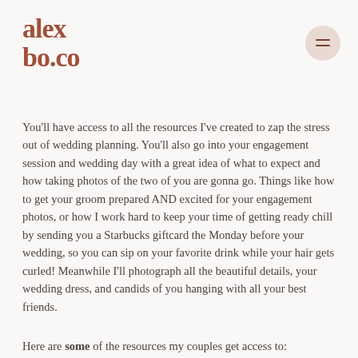alexbo.co
You'll have access to all the resources I've created to zap the stress out of wedding planning. You'll also go into your engagement session and wedding day with a great idea of what to expect and how taking photos of the two of you are gonna go. Things like how to get your groom prepared AND excited for your engagement photos, or how I work hard to keep your time of getting ready chill by sending you a Starbucks giftcard the Monday before your wedding, so you can sip on your favorite drink while your hair gets curled! Meanwhile I'll photograph all the beautiful details, your wedding dress, and candids of you hanging with all your best friends.
Here are some of the resources my couples get access to: